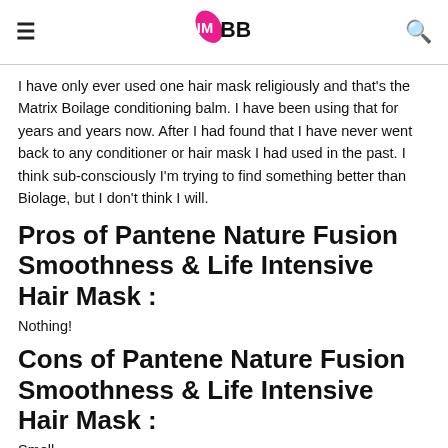IMBB
I have only ever used one hair mask religiously and that's the Matrix Boilage conditioning balm. I have been using that for years and years now. After I had found that I have never went back to any conditioner or hair mask I had used in the past. I think sub-consciously I'm trying to find something better than Biolage, but I don't think I will.
Pros of Pantene Nature Fusion Smoothness & Life Intensive Hair Mask :
Nothing!
Cons of Pantene Nature Fusion Smoothness & Life Intensive Hair Mask :
Smell.
Doesn't not make hair smooth or full of life.